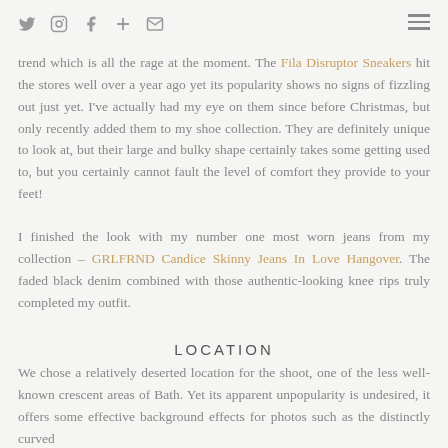Social icons and hamburger menu
Next up is the posterboy and gift shoe for the 'Dad Trainer' trend which is all the rage at the moment. The Fila Disruptor Sneakers hit the stores well over a year ago yet its popularity shows no signs of fizzling out just yet. I've actually had my eye on them since before Christmas, but only recently added them to my shoe collection. They are definitely unique to look at, but their large and bulky shape certainly takes some getting used to, but you certainly cannot fault the level of comfort they provide to your feet!
I finished the look with my number one most worn jeans from my collection – GRLFRND Candice Skinny Jeans In Love Hangover. The faded black denim combined with those authentic-looking knee rips truly completed my outfit.
LOCATION
We chose a relatively deserted location for the shoot, one of the less well-known crescent areas of Bath. Yet its apparent unpopularity is undesired, it offers some effective background effects for photos such as the distinctly curved